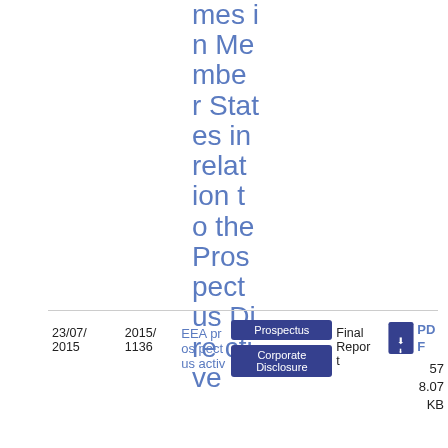mes in Member States in relation to the Prospectus Directive
| Date | Doc Number | Link | Tags | Doc Type | File |
| --- | --- | --- | --- | --- | --- |
| 23/07/2015 | 2015/1136 | EEA prospectus activ… | Prospectus / Corporate Disclosure | Final Report | PDF 57 8.07 KB |